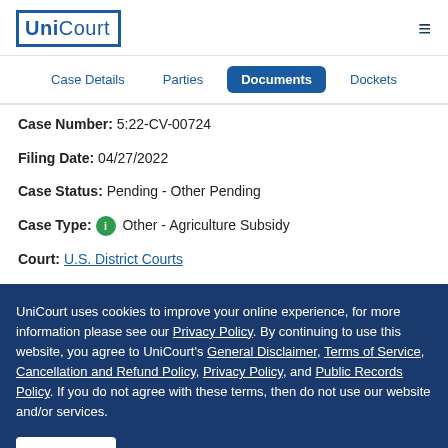UniCourt
Case Details | Parties | Documents | Dockets
Case Number: 5:22-CV-00724
Filing Date: 04/27/2022
Case Status: Pending - Other Pending
Case Type: Other - Agriculture Subsidy
Court: U.S. District Courts
UniCourt uses cookies to improve your online experience, for more information please see our Privacy Policy. By continuing to use this website, you agree to UniCourt's General Disclaimer, Terms of Service, Cancellation and Refund Policy, Privacy Policy, and Public Records Policy. If you do not agree with these terms, then do not use our website and/or services.
I AGREE